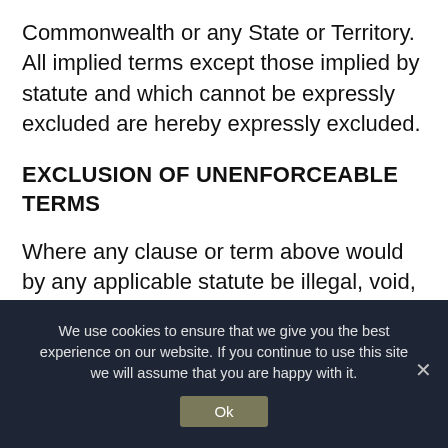Commonwealth or any State or Territory. All implied terms except those implied by statute and which cannot be expressly excluded are hereby expressly excluded.
EXCLUSION OF UNENFORCEABLE TERMS
Where any clause or term above would by any applicable statute be illegal, void, or unenforceable in any State or Territory then such a clause shall not apply in that State or Territory and shall be deemed never to have been included
We use cookies to ensure that we give you the best experience on our website. If you continue to use this site we will assume that you are happy with it.